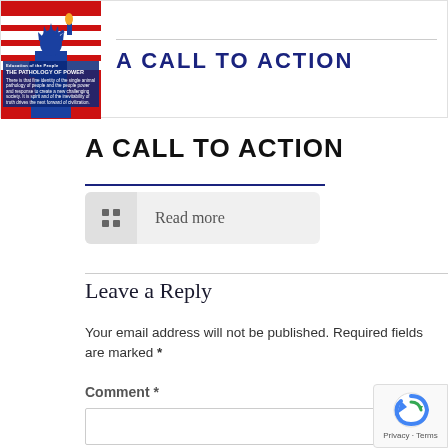[Figure (illustration): Book cover for 'The Pathology of Power' (Education of the People) showing Statue of Liberty silhouette in blue against red and white stripes, alongside banner text 'A CALL TO ACTION' in navy blue on white background]
A CALL TO ACTION
Read more
Leave a Reply
Your email address will not be published. Required fields are marked *
Comment *